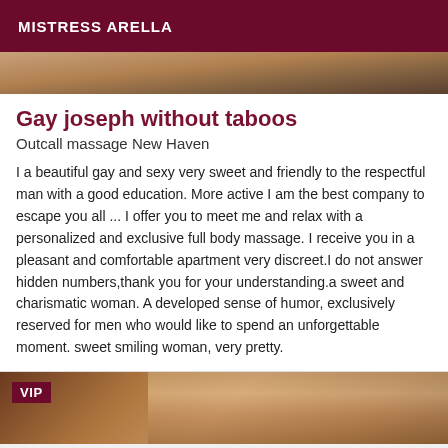MISTRESS ARELLA
[Figure (photo): Partial photo strip at top of page, showing a cropped image with skin tones and dark background]
Gay joseph without taboos
Outcall massage New Haven
I a beautiful gay and sexy very sweet and friendly to the respectful man with a good education. More active I am the best company to escape you all ... I offer you to meet me and relax with a personalized and exclusive full body massage. I receive you in a pleasant and comfortable apartment very discreet.I do not answer hidden numbers,thank you for your understanding.a sweet and charismatic woman. A developed sense of humor, exclusively reserved for men who would like to spend an unforgettable moment. sweet smiling woman, very pretty.
[Figure (photo): Bottom photo strip showing a person with blonde hair, with a VIP badge in the upper left corner]